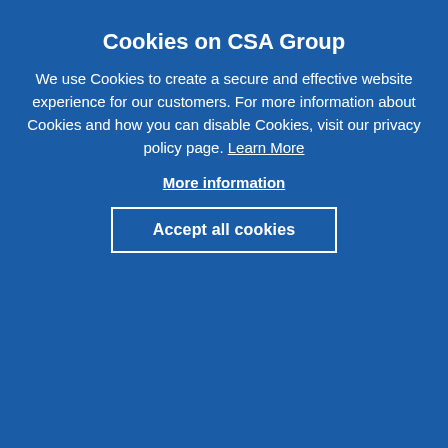Cookies on CSA Group
We use Cookies to create a secure and effective website experience for our customers. For more information about Cookies and how you can disable Cookies, visit our privacy policy page. Learn More
More information
Accept all cookies
Add To Wishlist
© Request Copyright Permissions
| Subscribe | $283.00 CAD* |
| --- | --- |
| Annual subscription keeps you up-to-date with the latest editions of standards and includes all supported languages and archive versions. |  |
Annual subscription keeps you up-to-date with the latest editions of standards and includes all supported languages and archive versions.